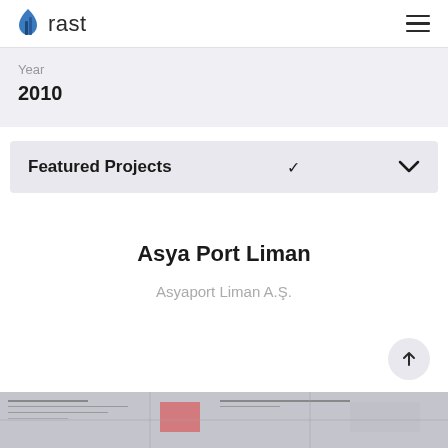rast
Year
2010
Featured Projects
Asya Port Liman
Asyaport Liman A.Ş.
[Figure (screenshot): Bottom image strip showing a technical/engineering document screenshot in grayscale]